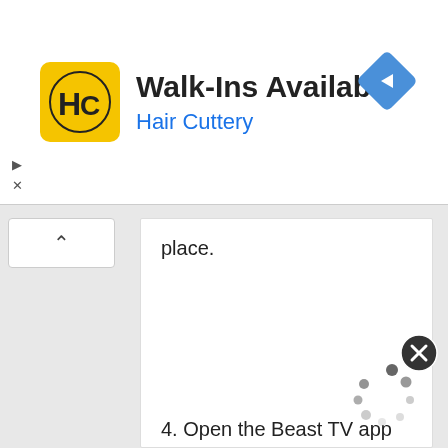[Figure (screenshot): Hair Cuttery advertisement banner with yellow HC logo, title 'Walk-Ins Available', subtitle 'Hair Cuttery', and a blue navigation diamond icon on the right]
place.
4. Open the Beast TV app on your Firestick.
5. On the app We click Add New Ac